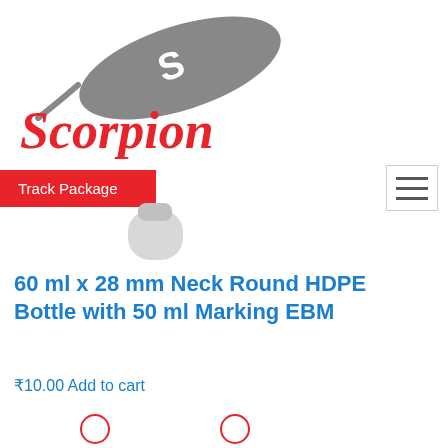[Figure (logo): Scorpion brand logo: grey oval swoosh shape with white stylized S, and red cursive 'Scorpion' text below]
Track Package
60 ml x 28 mm Neck Round HDPE Bottle with 50 ml Marking EBM
₹10.00 Add to cart